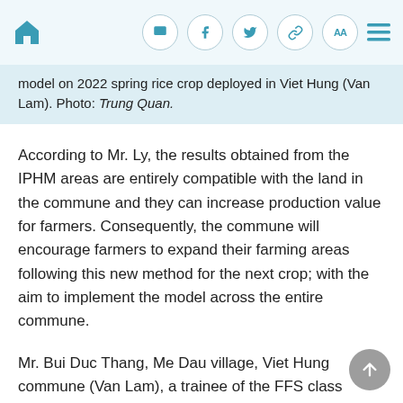[home icon] [chat icon] [facebook icon] [twitter icon] [link icon] [AA] [menu icon]
model on 2022 spring rice crop deployed in Viet Hung (Van Lam). Photo: Trung Quan.
According to Mr. Ly, the results obtained from the IPHM areas are entirely compatible with the land in the commune and they can increase production value for farmers. Consequently, the commune will encourage farmers to expand their farming areas following this new method for the next crop; with the aim to implement the model across the entire commune.
Mr. Bui Duc Thang, Me Dau village, Viet Hung commune (Van Lam), a trainee of the FFS class shared: I was initially hesitant approaching the IPHM method, I was even skeptical because the farming practices are different from that of traditional methods such as: transplanting young seedlings, transplanting